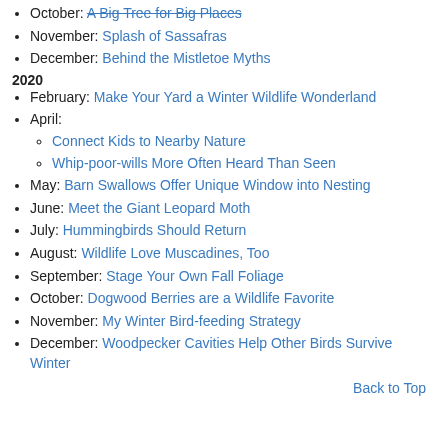October: A Big Tree for Big Places
November: Splash of Sassafras
December: Behind the Mistletoe Myths
2020
February: Make Your Yard a Winter Wildlife Wonderland
April:
Connect Kids to Nearby Nature
Whip-poor-wills More Often Heard Than Seen
May: Barn Swallows Offer Unique Window into Nesting
June: Meet the Giant Leopard Moth
July: Hummingbirds Should Return
August: Wildlife Love Muscadines, Too
September: Stage Your Own Fall Foliage
October: Dogwood Berries are a Wildlife Favorite
November: My Winter Bird-feeding Strategy
December: Woodpecker Cavities Help Other Birds Survive Winter
Back to Top